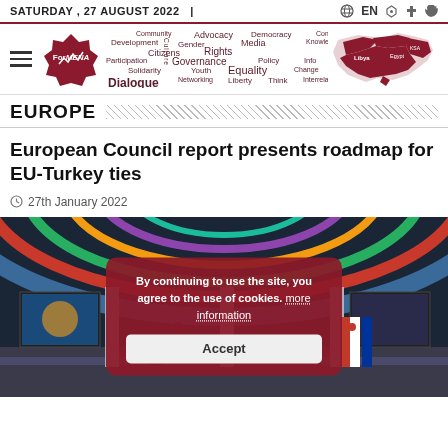SATURDAY , 27 AUGUST 2022 | EN
[Figure (logo): ForMENA logo (dark red star badge with stylized letters) and word cloud with MENA-region related terms, alongside a red map of the MENA region]
EUROPE
European Council report presents roadmap for EU-Turkey ties
27th January 2022
[Figure (photo): Interior of what appears to be the European Council chamber with colorful ceiling, screens, EU and Turkish flags, and people. A cookie consent overlay reads: By continuing to use the site, you agree to the use of cookies. more information — Accept]